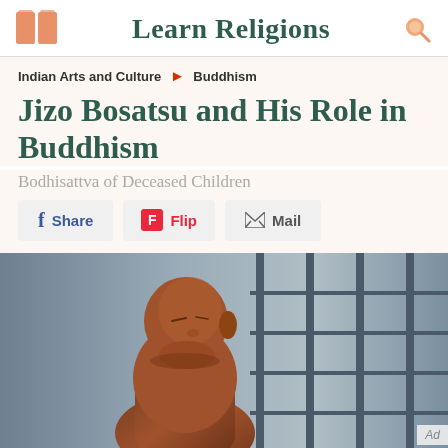Learn Religions
Indian Arts and Culture > Buddhism
Jizo Bosatsu and His Role in Buddhism
Bodhisattva of Deceased Children
Share   Flip   Mail
[Figure (photo): A wooden statue of Jizo Bosatsu, a shaved-head Buddhist figure, photographed against a blurred background of window grilles with soft light.]